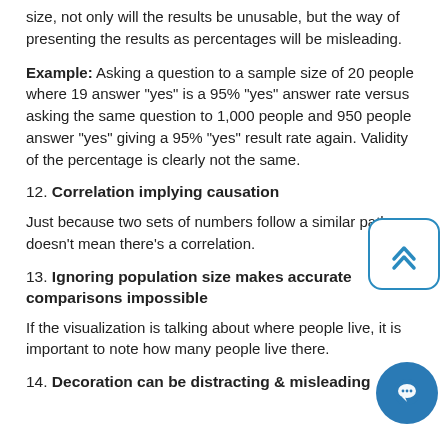size, not only will the results be unusable, but the way of presenting the results as percentages will be misleading.
Example: Asking a question to a sample size of 20 people where 19 answer "yes" is a 95% "yes" answer rate versus asking the same question to 1,000 people and 950 people answer "yes" giving a 95% "yes" result rate again. Validity of the percentage is clearly not the same.
12. Correlation implying causation
Just because two sets of numbers follow a similar path doesn't mean there's a correlation.
13. Ignoring population size makes accurate comparisons impossible
If the visualization is talking about where people live, it is important to note how many people live there.
14. Decoration can be distracting & misleading